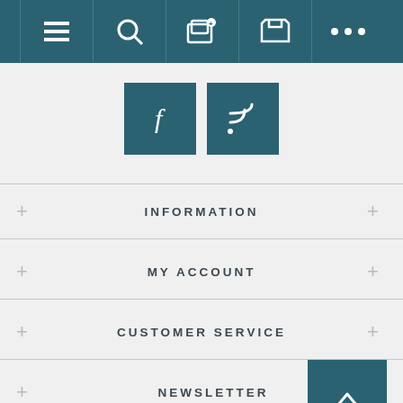Navigation bar with menu, search, add, cart, more icons
[Figure (other): Facebook social media icon button (teal square with white f)]
[Figure (other): RSS feed icon button (teal square with white RSS symbol)]
INFORMATION
MY ACCOUNT
CUSTOMER SERVICE
NEWSLETTER